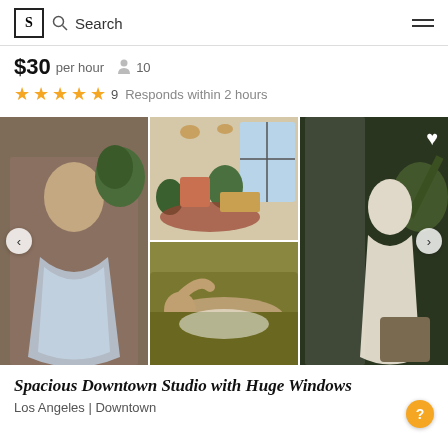S | Search
$30 per hour  10
★★★★★  9  Responds within 2 hours
[Figure (photo): Photo carousel of a spacious downtown studio with boho decor, large windows, plants, vintage rugs, green velvet sofa, and a model in a white gown]
Spacious Downtown Studio with Huge Windows
Los Angeles | Downtown